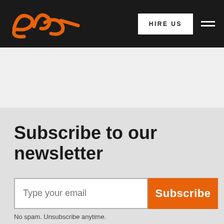[Figure (logo): Stylized orange cursive 'en' logo on dark background]
HIRE US
Subscribe to our newsletter
Type your email
Subscribe
No spam. Unsubscribe anytime.